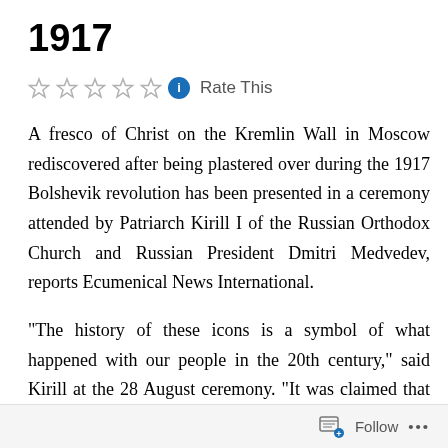1917
☆☆☆☆☆ ℹ Rate This
A fresco of Christ on the Kremlin Wall in Moscow rediscovered after being plastered over during the 1917 Bolshevik revolution has been presented in a ceremony attended by Patriarch Kirill I of the Russian Orthodox Church and Russian President Dmitri Medvedev, reports Ecumenical News International.
"The history of these icons is a symbol of what happened with our people in the 20th century," said Kirill at the 28 August ceremony. "It was claimed that true goals and values and genuine shrines were destroyed, and that faith had disappeared from the lives of our people."
Follow ...